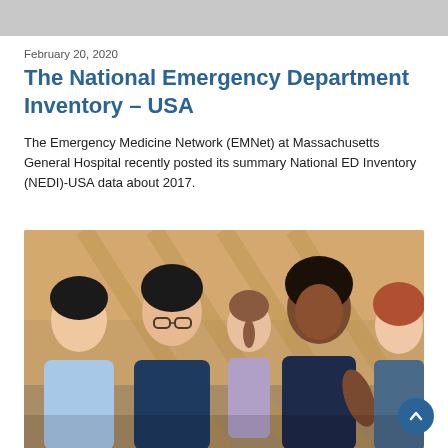February 20, 2020
The National Emergency Department Inventory – USA
The Emergency Medicine Network (EMNet) at Massachusetts General Hospital recently posted its summary National ED Inventory (NEDI)-USA data about 2017.
[Figure (photo): Group of healthcare professionals or medical students in scrubs seated and talking in a hallway with wood-paneled walls]